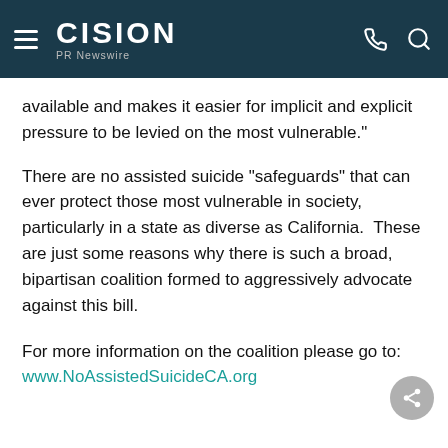CISION PR Newswire
available and makes it easier for implicit and explicit pressure to be levied on the most vulnerable."
There are no assisted suicide "safeguards" that can ever protect those most vulnerable in society, particularly in a state as diverse as California.  These are just some reasons why there is such a broad, bipartisan coalition formed to aggressively advocate against this bill.
For more information on the coalition please go to: www.NoAssistedSuicideCA.org